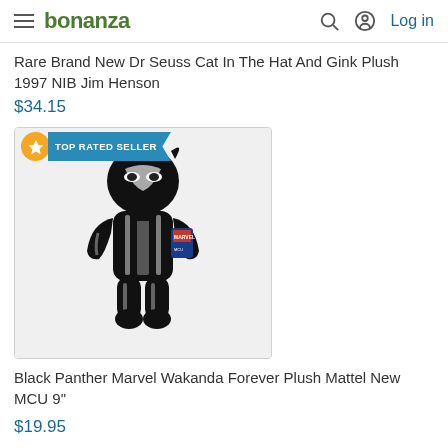bonanza | Log in
Rare Brand New Dr Seuss Cat In The Hat And Gink Plush 1997 NIB Jim Henson
$34.15
[Figure (photo): Black Panther Marvel plush toy in black costume with white accents, standing pose, with Marvel tag attached. TOP RATED SELLER badge overlay.]
Black Panther Marvel Wakanda Forever Plush Mattel New MCU 9"
$19.95